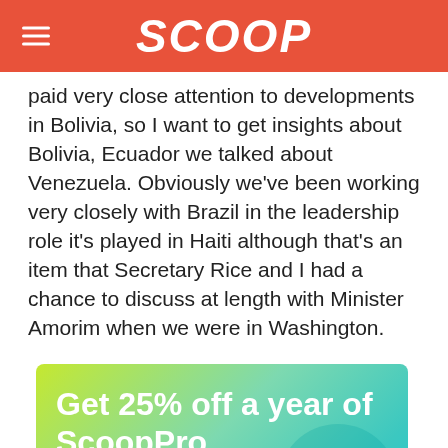SCOOP
paid very close attention to developments in Bolivia, so I want to get insights about Bolivia, Ecuador we talked about Venezuela. Obviously we've been working very closely with Brazil in the leadership role it's played in Haiti although that's an item that Secretary Rice and I had a chance to discuss at length with Minister Amorim when we were in Washington.
[Figure (infographic): ScoopPro advertisement banner with gradient background (yellow to teal). Text reads: 'Get 25% off a year of ScoopPro'. Below a divider line: 'Claim This Limited Offer Now (t&c's apply)'. Scoop|PRO logo at bottom.]